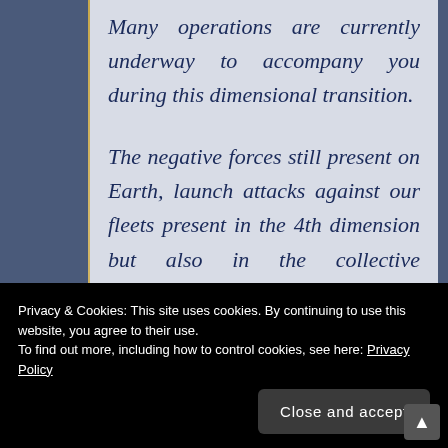Many operations are currently underway to accompany you during this dimensional transition.
The negative forces still present on Earth, launch attacks against our fleets present in the 4th dimension but also in the collective unconscious of your feeling of not really being who you really are. It is therefore important to find the
Privacy & Cookies: This site uses cookies. By continuing to use this website, you agree to their use.
To find out more, including how to control cookies, see here: Privacy Policy